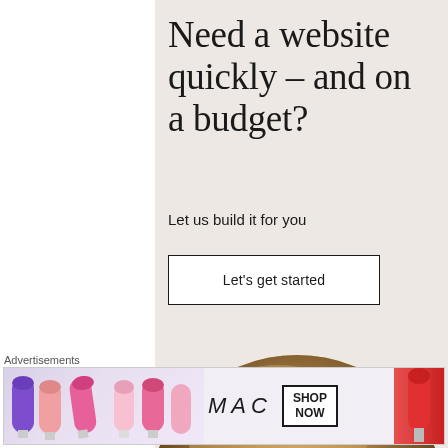Need a website quickly – and on a budget?
Let us build it for you
Let's get started
[Figure (photo): Circular cropped photo of a person holding a makeup brush to their face, showing warm brown tones with a beige background]
[Figure (illustration): Close button (X in circle) overlay on the right side]
Advertisements
[Figure (screenshot): MAC cosmetics advertisement banner showing colorful lipsticks on the left, MAC logo in script in center, SHOP NOW box, and red lipstick on the right]